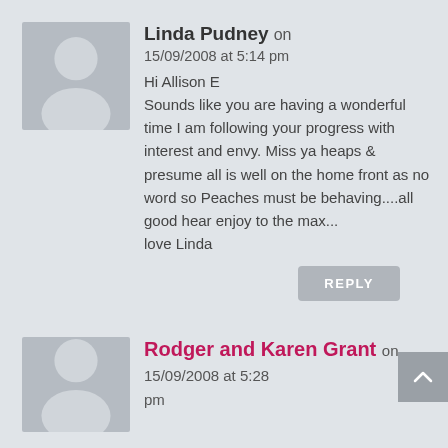[Figure (illustration): Gray avatar placeholder icon for Linda Pudney]
Linda Pudney on 15/09/2008 at 5:14 pm
Hi Allison E
Sounds like you are having a wonderful time I am following your progress with interest and envy. Miss ya heaps & presume all is well on the home front as no word so Peaches must be behaving....all good hear enjoy to the max...
love Linda
REPLY
[Figure (illustration): Gray avatar placeholder icon for Rodger and Karen Grant]
Rodger and Karen Grant on 15/09/2008 at 5:28 pm